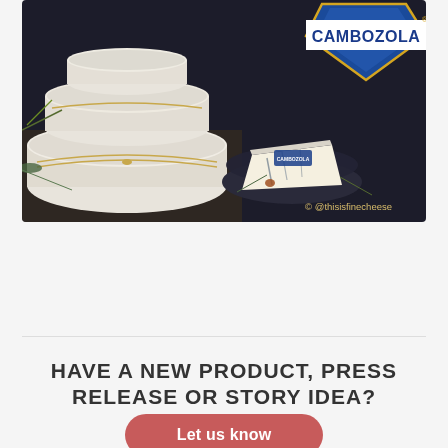[Figure (photo): Photo of stacked white-rind cheese wheels tied with twine, with a wedge of Cambozola blue cheese on a dark plate, dark background. CAMBOZOLA logo at top right. Instagram handle @thisisfinecheese at bottom right.]
© @thisisfinecheese
HAVE A NEW PRODUCT, PRESS RELEASE OR STORY IDEA?
Let us know